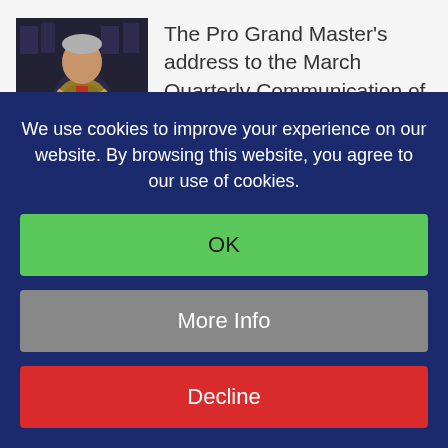[Figure (photo): Portrait photo of a man in ceremonial Masonic regalia including chain of office and decorations, standing in front of an ornate background]
The Pro Grand Master's address to the March Quarterly Communication of Grand Lodge meeting Brethren,...
New app will help young people with diabetes thanks to a grant from
We use cookies to improve your experience on our website. By browsing this website, you agree to our use of cookies.
OK
More Info
Decline